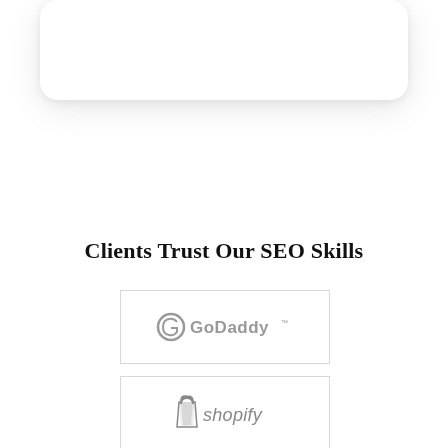[Figure (other): White rounded card/panel element at top of page, casting a soft shadow]
Clients Trust Our SEO Skills
[Figure (logo): GoDaddy logo in gray: circular G icon followed by GoDaddy wordmark in gray]
[Figure (logo): Shopify logo in gray: shopping bag icon followed by shopify wordmark in gray italic]